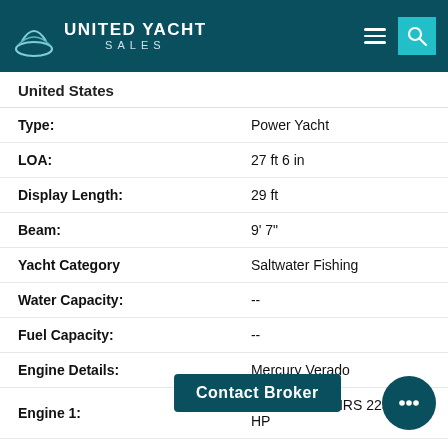United Yacht Sales
United States
| Field | Value |
| --- | --- |
| Type: | Power Yacht |
| LOA: | 27 ft 6 in |
| Display Length: | 29 ft |
| Beam: | 9' 7" |
| Yacht Category | Saltwater Fishing |
| Water Capacity: | -- |
| Fuel Capacity: | -- |
| Engine Details: | Mercury Verado |
| Engine 1: | 2005 600.00 HRS 225.00 HP |
Contact Broker